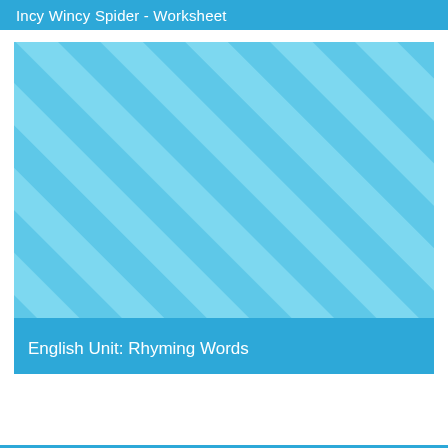Incy Wincy Spider - Worksheet
[Figure (illustration): A rectangular image with a light blue diagonal stripe pattern. The stripes are alternating medium blue and lighter blue diagonal bands running from lower-left to upper-right across the entire image area.]
English Unit: Rhyming Words